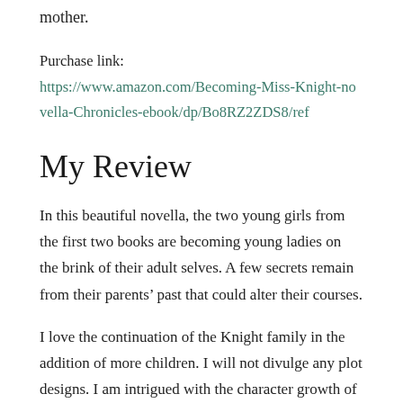mother.
Purchase link:
https://www.amazon.com/Becoming-Miss-Knight-novella-Chronicles-ebook/dp/Bo8RZ2ZDS8/ref
My Review
In this beautiful novella, the two young girls from the first two books are becoming young ladies on the brink of their adult selves. A few secrets remain from their parents' past that could alter their courses.
I love the continuation of the Knight family in the addition of more children. I will not divulge any plot designs. I am intrigued with the character growth of Mrs. Knight and Nettie. Do not the